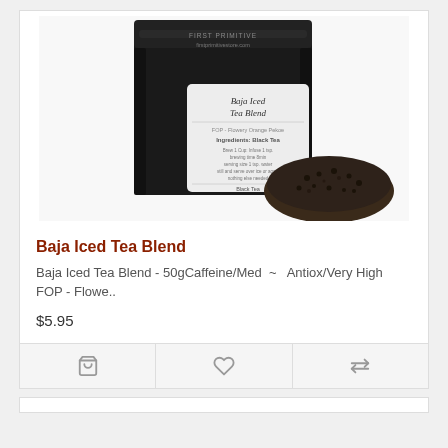[Figure (photo): Black resealable pouch of Baja Iced Tea Blend with a white product label. A small pile of loose black tea leaves is shown in the bottom right corner of the image.]
Baja Iced Tea Blend
Baja Iced Tea Blend - 50gCaffeine/Med  ~  Antiox/Very High    FOP - Flowe..
$5.95